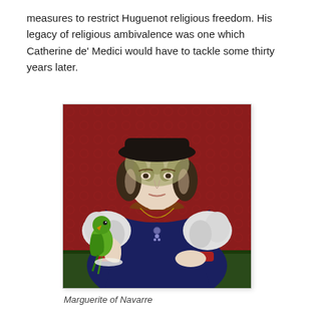measures to restrict Huguenot religious freedom. His legacy of religious ambivalence was one which Catherine de' Medici would have to tackle some thirty years later.
[Figure (photo): Portrait painting of Marguerite of Navarre, a noblewoman wearing a dark blue dress with white puffed sleeves and a dark hat with lace. She holds a green parrot on her left hand and rests her right hand on a surface. The background is deep red.]
Marguerite of Navarre